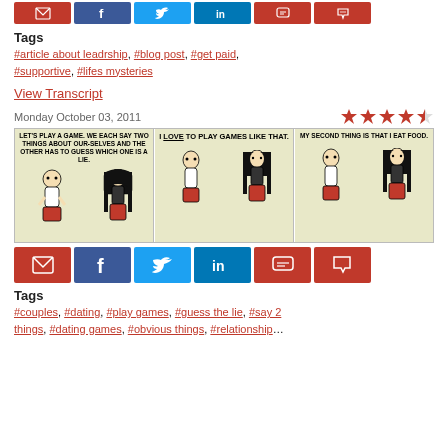[Figure (other): Row of 6 social sharing buttons (email, facebook, twitter, linkedin, comment, cart) at top of page]
Tags
#article about leadrship, #blog post, #get paid, #supportive, #lifes mysteries
View Transcript
Monday October 03, 2011
[Figure (illustration): Dilbert comic strip with 3 panels. Panel 1: character says 'LET'S PLAY A GAME. WE EACH SAY TWO THINGS ABOUT OUR-SELVES AND THE OTHER HAS TO GUESS WHICH ONE IS A LIE.' Panel 2: character responds 'I LOVE TO PLAY GAMES LIKE THAT.' Panel 3: character says 'MY SECOND THING IS THAT I EAT FOOD.']
[Figure (other): Row of 6 social sharing buttons (email, facebook, twitter, linkedin, comment, cart)]
Tags
#couples, #dating, #play games, #guess the lie, #say 2 things, #dating games, #obvious things, #relationships